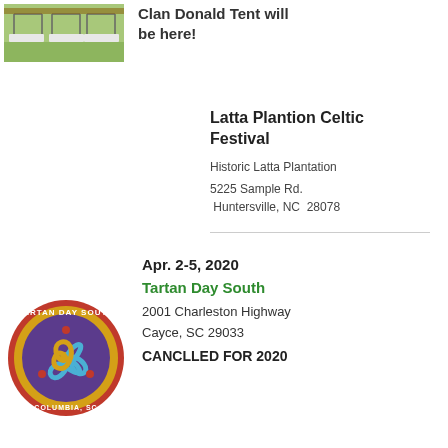[Figure (photo): Outdoor tent setup photo with white canopies on grass]
Clan Donald Tent will be here!
Latta Plantion Celtic Festival
Historic Latta Plantation
5225 Sample Rd.
 Huntersville, NC  28078
[Figure (logo): Tartan Day South circular logo with triskelion design, Columbia SC]
Apr. 2-5, 2020
Tartan Day South
2001 Charleston Highway
Cayce, SC 29033
CANCLLED FOR 2020